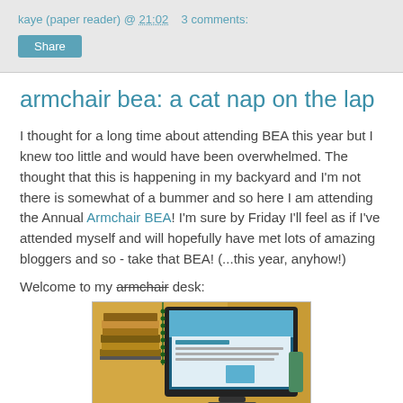kaye (paper reader) @ 21:02   3 comments:
armchair bea: a cat nap on the lap
I thought for a long time about attending BEA this year but I knew too little and would have been overwhelmed. The thought that this is happening in my backyard and I'm not there is somewhat of a bummer and so here I am attending the Annual Armchair BEA! I'm sure by Friday I'll feel as if I've attended myself and will hopefully have met lots of amazing bloggers and so - take that BEA! (...this year, anyhow!)
Welcome to my armchair desk:
[Figure (photo): Photo of a desk setup with a large monitor displaying a website, a stack of books on the left, a yellow wall in background, and some items on shelves.]